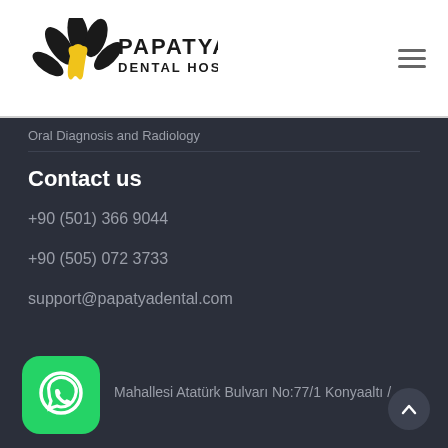[Figure (logo): Papatya Dental Hospital logo with flower and tooth icon, black and yellow]
Oral Diagnosis and Radiology
Contact us
+90 (501) 366 9044
+90 (505) 072 3733
support@papatyadental.com
Mahallesi Atatürk Bulvarı No:77/1 Konyaaltı /
[Figure (logo): WhatsApp green rounded square icon with phone handset in chat bubble]